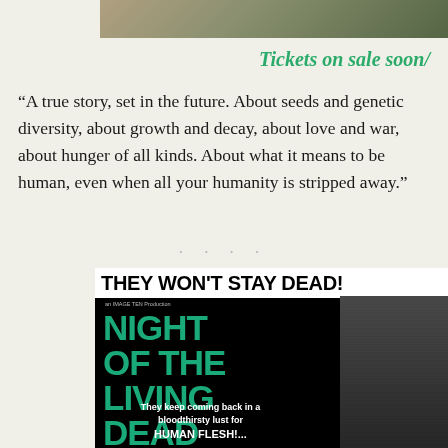[Figure (photo): Top partial image showing a faded book cover or poster with green/olive background]
Tickets on sale soon/
“A true story, set in the future. About seeds and genetic diversity, about growth and decay, about love and war, about hunger of all kinds. About what it means to be human, even when all your humanity is stripped away.”
[Figure (photo): Night of the Living Dead vintage movie poster. Black and white with teal/green title text. Header reads THEY WON’T STAY DEAD! Large title text: NIGHT OF THE LIVING DEAD. Tagline: They keep coming back in a bloodthirsty lust for HUMAN FLESH!...]